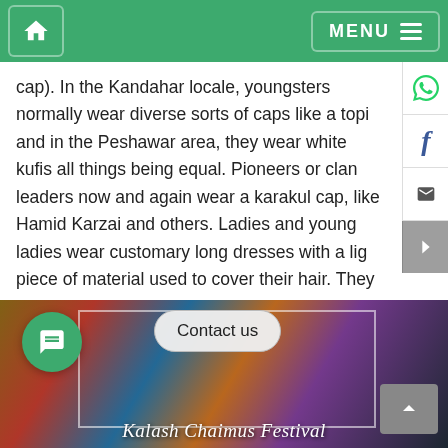Home | MENU
cap). In the Kandahar locale, youngsters normally wear diverse sorts of caps like a topi and in the Peshawar area, they wear white kufis all things being equal. Pioneers or clan leaders now and again wear a karakul cap, like Hamid Karzai and others. Ladies and young ladies wear customary long dresses with a light piece of material used to cover their hair. They additionally wear wonderful handmade adornments. Furthermore, wonderful Pashtoon dresses.
[Figure (photo): Photo of Kalash Chaimus Festival with colorfully dressed people]